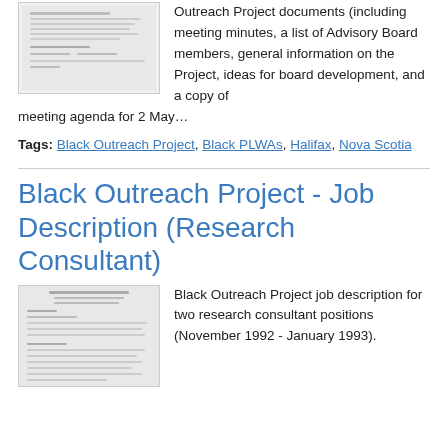[Figure (photo): Thumbnail of a document page — appears to be meeting minutes or advisory board document with small text]
Outreach Project documents (including meeting minutes, a list of Advisory Board members, general information on the Project, ideas for board development, and a copy of meeting agenda for 2 May…
Tags: Black Outreach Project, Black PLWAs, Halifax, Nova Scotia
Black Outreach Project - Job Description (Research Consultant)
[Figure (photo): Thumbnail of a document page — Black Outreach Project job description with small text]
Black Outreach Project job description for two research consultant positions (November 1992 - January 1993).